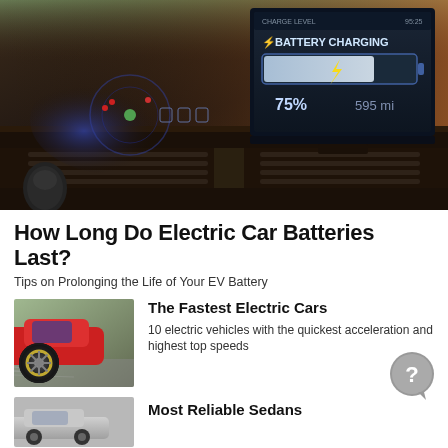[Figure (photo): Interior of an electric car dashboard showing a screen displaying 'BATTERY CHARGING' at 75% with 595 mi range, with instrument cluster glowing in background]
How Long Do Electric Car Batteries Last?
Tips on Prolonging the Life of Your EV Battery
[Figure (photo): Red electric car wheel and tire in motion on a road, trees in background]
The Fastest Electric Cars
10 electric vehicles with the quickest acceleration and highest top speeds
[Figure (photo): Partial view of a silver/gray sedan]
Most Reliable Sedans